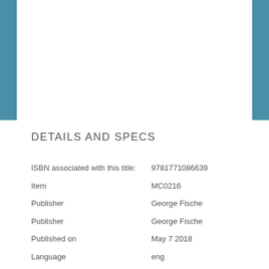DETAILS AND SPECS
| ISBN associated with this title: | 9781771086639 |
| Item | MC0216 |
| Publisher | George Fische |
| Publisher | George Fische |
| Published on | May 7 2018 |
| Language | eng |
| Pages | 256 |
| Format | Hardcover |
| Dimensions | 10(in) x 10(in) |
| Shipping weight | 1395(g) |